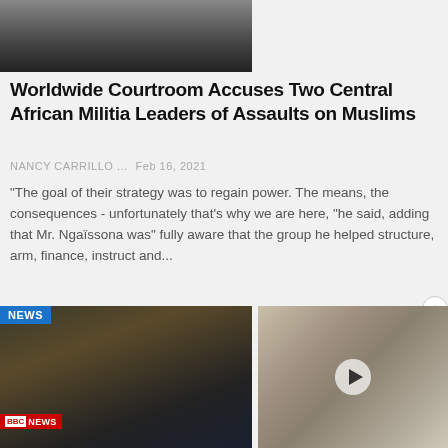[Figure (photo): Partial photo of a person in a courtroom wearing a mask, top portion cropped]
Worldwide Courtroom Accuses Two Central African Militia Leaders of Assaults on Muslims
NANCY CARRILLO ...   Feb 16, 2021
"The goal of their strategy was to regain power. The means, the consequences - unfortunately that's why we are here, "he said, adding that Mr. Ngaïssona was" fully aware that the group he helped structure, arm, finance, instruct and...
[Figure (photo): NEWS badge with photo of a man looking serious, BBC News logo at bottom]
[Figure (photo): Warehouse interior with shelving and boxes, video play button overlay]
Central African Republic: Battle crimes trial of two ex-militia leaders begins